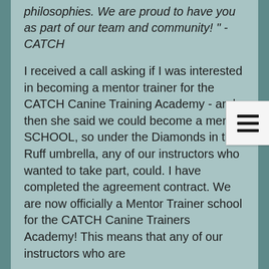philosophies.  We are proud to have you as part of our team and community! "  - CATCH
I received a call asking if I was interested in becoming a mentor trainer for  the CATCH Canine Training Academy - and then she said we could become a mentor SCHOOL, so under the Diamonds in the Ruff umbrella, any of our instructors who wanted to take part, could.  I have completed the agreement contract.  We are now officially a Mentor Trainer school for the CATCH Canine Trainers Academy!  This means that any of our instructors who are